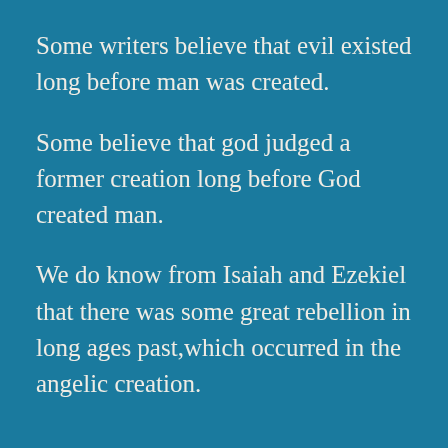Some writers believe that evil existed long before man was created.
Some believe that god judged a former creation long before God created man.
We do know from Isaiah and Ezekiel that there was some great rebellion in long ages past,which occurred in the angelic creation.